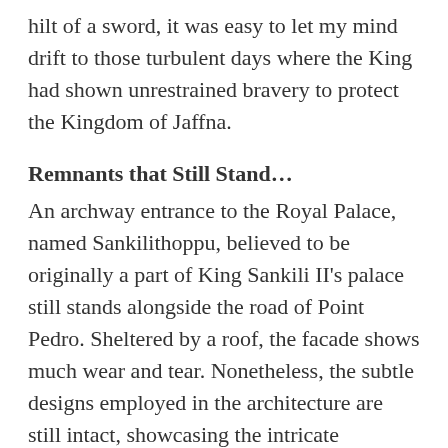hilt of a sword, it was easy to let my mind drift to those turbulent days where the King had shown unrestrained bravery to protect the Kingdom of Jaffna.
Remnants that Still Stand…
An archway entrance to the Royal Palace, named Sankilithoppu, believed to be originally a part of King Sankili II's palace still stands alongside the road of Point Pedro. Sheltered by a roof, the facade shows much wear and tear. Nonetheless, the subtle designs employed in the architecture are still intact, showcasing the intricate compositions of old.
As the rule of this royal family became renowned, the dynasty was called Aryachakravarti Arya Emperors.
Beyond the archway I found myself near a pond tucked in a corner in the midst of a small housing area. The